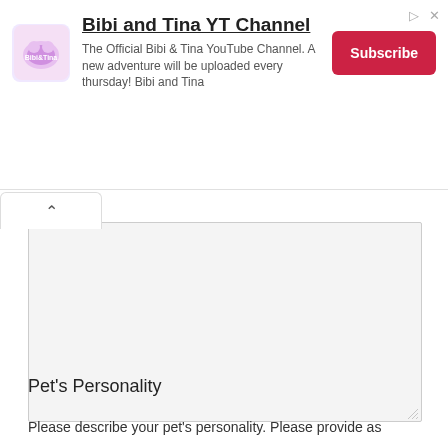[Figure (screenshot): Ad banner for Bibi and Tina YT Channel showing logo, title, description, and Subscribe button]
Pet's Personality
Please describe your pet's personality. Please provide as